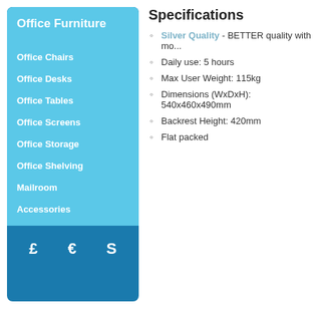Office Furniture
Office Chairs
Office Desks
Office Tables
Office Screens
Office Storage
Office Shelving
Mailroom
Accessories
£  €  S
Specifications
Silver Quality - BETTER quality with mo...
Daily use: 5 hours
Max User Weight: 115kg
Dimensions (WxDxH): 540x460x490mm
Backrest Height: 420mm
Flat packed